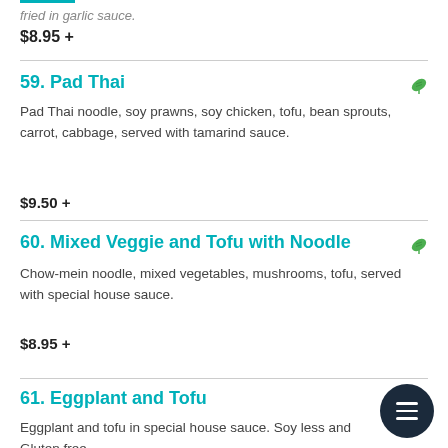...fried in garlic sauce.
$8.95 +
59. Pad Thai – Pad Thai noodle, soy prawns, soy chicken, tofu, bean sprouts, carrot, cabbage, served with tamarind sauce. $9.50 +
60. Mixed Veggie and Tofu with Noodle – Chow-mein noodle, mixed vegetables, mushrooms, tofu, served with special house sauce. $8.95 +
61. Eggplant and Tofu – Eggplant and tofu in special house sauce. Soy less and Gluten free. $9.00 +